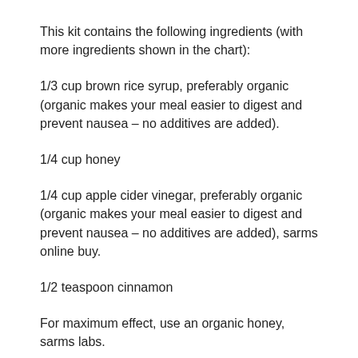This kit contains the following ingredients (with more ingredients shown in the chart):
1/3 cup brown rice syrup, preferably organic (organic makes your meal easier to digest and prevent nausea – no additives are added).
1/4 cup honey
1/4 cup apple cider vinegar, preferably organic (organic makes your meal easier to digest and prevent nausea – no additives are added), sarms online buy.
1/2 teaspoon cinnamon
For maximum effect, use an organic honey, sarms labs.